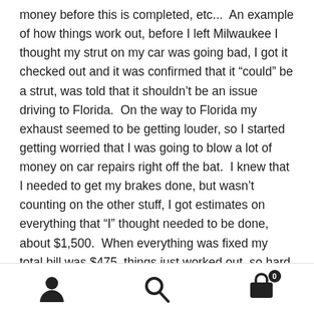money before this is completed, etc...  An example of how things work out, before I left Milwaukee I thought my strut on my car was going bad, I got it checked out and it was confirmed that it “could” be a strut, was told that it shouldn’t be an issue driving to Florida.  On the way to Florida my exhaust seemed to be getting louder, so I started getting worried that I was going to blow a lot of money on car repairs right off the bat.  I knew that I needed to get my brakes done, but wasn’t counting on the other stuff, I got estimates on everything that “I” thought needed to be done, about $1,500.  When everything was fixed my total bill was $475, things just worked out, so hard to explain.
I will leave it at that for the day, I need to get on the road
[Figure (infographic): Bottom navigation bar with three icons: user/profile icon on the left, search/magnifying glass icon in the center, and shopping cart icon with badge showing '0' on the right.]